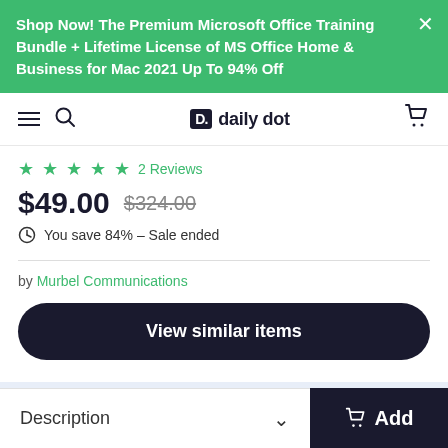Shop Now! The Premium Microsoft Office Training Bundle + Lifetime License of MS Office Home & Business for Mac 2021 Up To 94% Off
daily dot
★★★★½  2 Reviews
$49.00  $324.00
You save 84% – Sale ended
by Murbel Communications
View similar items
Description
Add